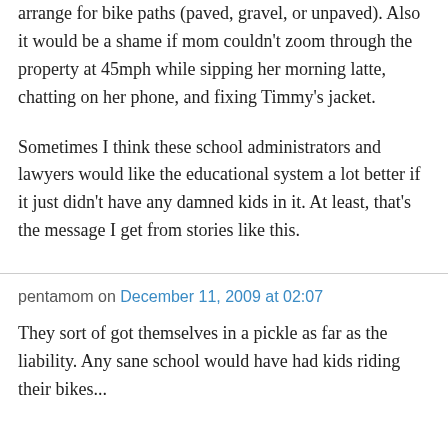arrange for bike paths (paved, gravel, or unpaved). Also it would be a shame if mom couldn't zoom through the property at 45mph while sipping her morning latte, chatting on her phone, and fixing Timmy's jacket.
Sometimes I think these school administrators and lawyers would like the educational system a lot better if it just didn't have any damned kids in it. At least, that's the message I get from stories like this.
pentamom on December 11, 2009 at 02:07
They sort of got themselves in a pickle as far as the liability. Any sane school would have had kids riding their bikes...